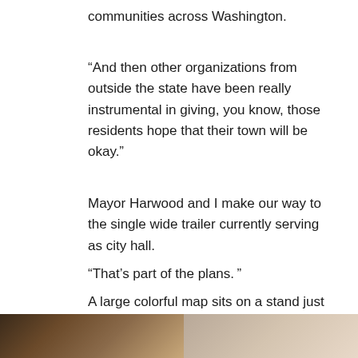communities across Washington.
“And then other organizations from outside the state have been really instrumental in giving, you know, those residents hope that their town will be okay.”
Mayor Harwood and I make our way to the single wide trailer currently serving as city hall.
“That’s part of the plans. ”
A large colorful map sits on a stand just inside the door. Harwood points out some of the planned improvements.
[Figure (photo): Two photographs side by side at the bottom of the page, partially visible. Left photo shows dark warm tones, right photo shows lighter beige/cream tones.]